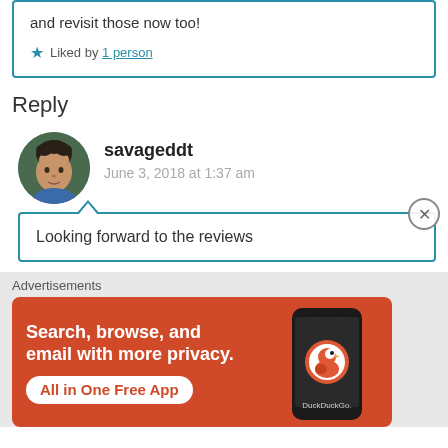and revisit those now too!
★ Liked by 1 person
Reply
[Figure (photo): Circular avatar photo of a young man with dark hair, outdoors background.]
savageddt
June 3, 2018 at 1:37 am
Looking forward to the reviews
Advertisements
[Figure (screenshot): DuckDuckGo advertisement banner. Orange background with text: 'Search, browse, and email with more privacy. All in One Free App'. Shows a smartphone with DuckDuckGo app icon and logo.]